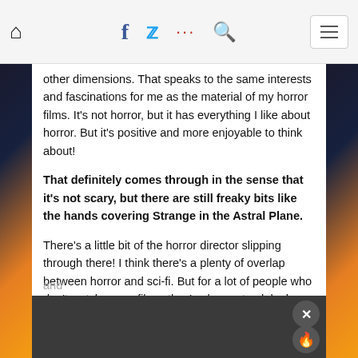Navigation bar with home icon, Facebook, Twitter, social dots, search, and menu button
other dimensions. That speaks to the same interests and fascinations for me as the material of my horror films. It's not horror, but it has everything I like about horror. But it's positive and more enjoyable to think about!
That definitely comes through in the sense that it's not scary, but there are still freaky bits like the hands covering Strange in the Astral Plane.
There's a little bit of the horror director slipping through there! I think there's a plenty of overlap between horror and sci-fi. But for a lot of people who don't watch genre films, they've been struck by how scary they find this film. Patton Oswalt sent out a tweet about how awesome and scary the movie is. I guess he must not watch a lot of horror, I don't know! But I love that! I love that it's hitting people in a visceral enough way that it's disturbing, because it's supposed to be. It's supposed to be disturbing to the character, so if it's not freaky and right